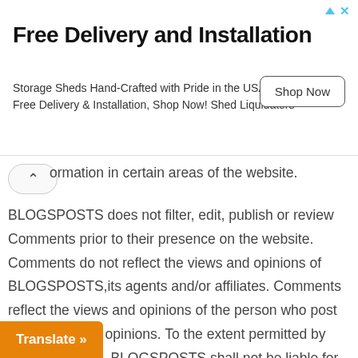[Figure (other): Advertisement banner for Shed Liquidators. Title: 'Free Delivery and Installation'. Body: 'Storage Sheds Hand-Crafted with Pride in the USA. Free Delivery & Installation, Shop Now! Shed Liquidators'. Button: 'Shop Now'.]
ormation in certain areas of the website.
BLOGSPOSTS does not filter, edit, publish or review Comments prior to their presence on the website. Comments do not reflect the views and opinions of BLOGSPOSTS,its agents and/or affiliates. Comments reflect the views and opinions of the person who post their views and opinions. To the extent permitted by applicable laws, BLOGSPOSTS shall not be liable for the Comments or for any liability, damages or expenses caused and/or suffered any use of and/or posting of